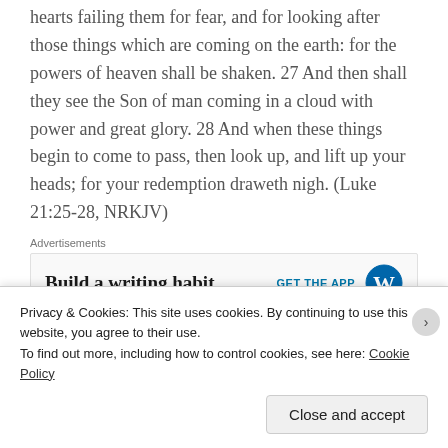hearts failing them for fear, and for looking after those things which are coming on the earth: for the powers of heaven shall be shaken. 27 And then shall they see the Son of man coming in a cloud with power and great glory. 28 And when these things begin to come to pass, then look up, and lift up your heads; for your redemption draweth nigh. (Luke 21:25-28, NRKJV)
Advertisements
[Figure (other): Advertisement banner: 'Build a writing habit.' with GET THE APP button and WordPress logo]
Privacy & Cookies: This site uses cookies. By continuing to use this website, you agree to their use.
To find out more, including how to control cookies, see here: Cookie Policy
Close and accept